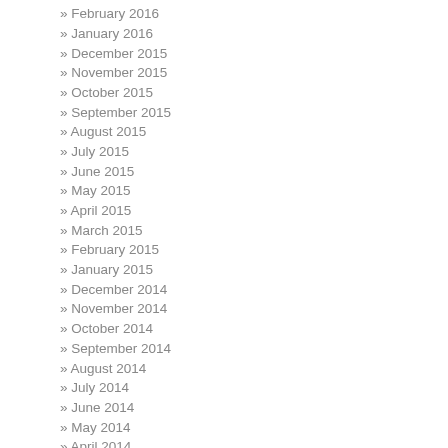» February 2016
» January 2016
» December 2015
» November 2015
» October 2015
» September 2015
» August 2015
» July 2015
» June 2015
» May 2015
» April 2015
» March 2015
» February 2015
» January 2015
» December 2014
» November 2014
» October 2014
» September 2014
» August 2014
» July 2014
» June 2014
» May 2014
» April 2014
» March 2014
» February 2014
» January 2014
» December 2013
» November 2013
» October 2013
» September 2013
» August 2013
» July 2013